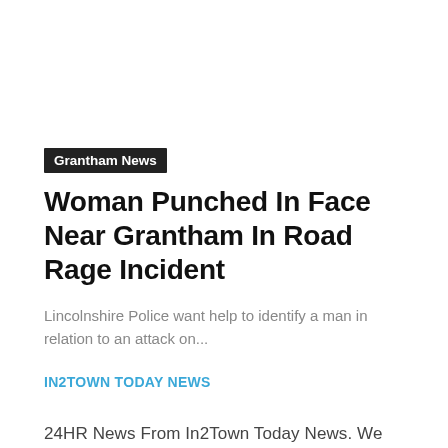Grantham News
Woman Punched In Face Near Grantham In Road Rage Incident
Lincolnshire Police want help to identify a man in relation to an attack on...
IN2TOWN TODAY NEWS
24HR News From In2Town Today News. We cover all UK News from sport news, politics, consumer news, travel news, and celebrity news. If you have any UK news to share then do get in touch.